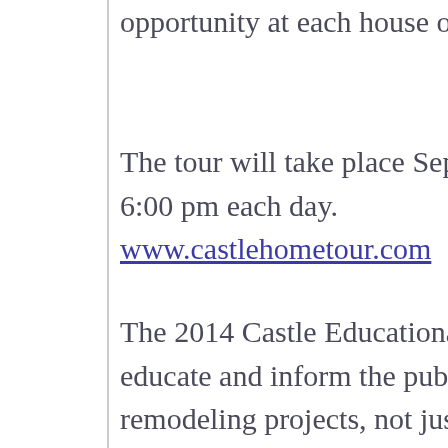opportunity at each house on the tour.
The tour will take place September 27 – 28, 2014 Noon – 6:00 pm each day. www.castlehometour.com
The 2014 Castle Educational Home Tour's purpose is to educate and inform the public on real, everyday remodeling projects, not just the largest or most expensive projects. The tour will show the public what is attainable in today's budget.  This tour is designed to help the public understand how remodeling works, and how to make